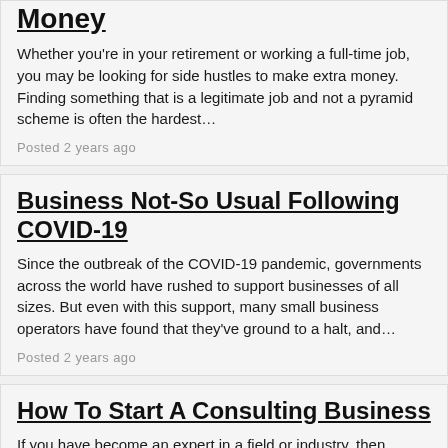Money
Whether you're in your retirement or working a full-time job, you may be looking for side hustles to make extra money. Finding something that is a legitimate job and not a pyramid scheme is often the hardest…
Posted 2 years ago
Business Not-So Usual Following COVID-19
Since the outbreak of the COVID-19 pandemic, governments across the world have rushed to support businesses of all sizes. But even with this support, many small business operators have found that they've ground to a halt, and…
Posted 2 years ago
How To Start A Consulting Business
If you have become an expert in a field or industry, then becoming a consultant can be an excellent way to develop professionally and achieve your long-term financial goals. You also have the option to start